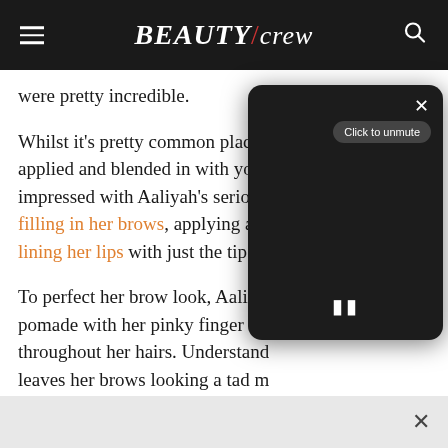BEAUTY/crew
were pretty incredible.
Whilst it's pretty common place f... applied and blended in with you... impressed with Aaliyah's serious filling in her brows, applying a ca... lining her lips with just the tip of h...
To perfect her brow look, Aaliyah pomade with her pinky finger an... throughout her hairs. Understand... leaves her brows looking a tad m...
[Figure (screenshot): Video player overlay with dark background, X close button top right, 'Click to unmute' button, and pause (II) button at bottom center]